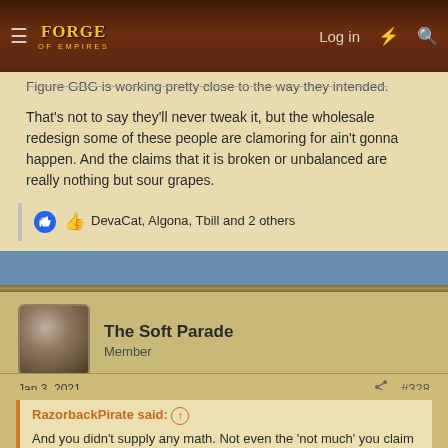Forge of Empires — Log in
Figure GBG is working pretty close to the way they intended.
That's not to say they'll never tweak it, but the wholesale redesign some of these people are clamoring for ain't gonna happen. And the claims that it is broken or unbalanced are really nothing but sour grapes.
DevaCat, Algona, Tbill and 2 others
The Soft Parade
Member
Jan 3, 2021
#328
RazorbackPirate said:
And you didn't supply any math. Not even the 'not much' you claim is all that's needed.
How much math do you need? More buildings being rushed,